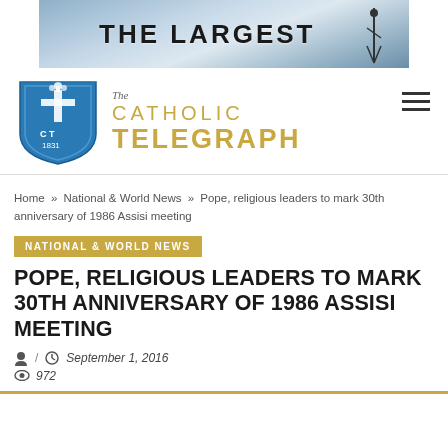[Figure (other): Banner advertisement showing 'THE LARGEST' text over a mountain/sky background with a silhouette figure]
[Figure (logo): The Catholic Telegraph logo — blue shield with cross, CT initials and 1831, with gold 'The CATHOLIC TELEGRAPH' text beside it]
Home » National & World News » Pope, religious leaders to mark 30th anniversary of 1986 Assisi meeting
NATIONAL & WORLD NEWS
POPE, RELIGIOUS LEADERS TO MARK 30TH ANNIVERSARY OF 1986 ASSISI MEETING
/ September 1, 2016
972